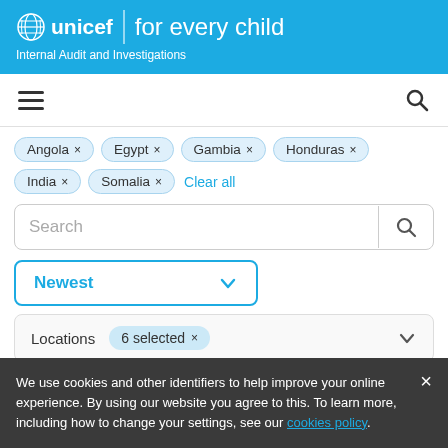[Figure (logo): UNICEF logo with globe icon and text 'unicef for every child' on blue background, with subtitle 'Internal Audit and Investigations']
[Figure (screenshot): Navigation bar with hamburger menu icon on left and search icon on right]
Angola ×
Egypt ×
Gambia ×
Honduras ×
India ×
Somalia ×
Clear all
Search
Newest
Locations  6 selected ×
We use cookies and other identifiers to help improve your online experience. By using our website you agree to this. To learn more, including how to change your settings, see our cookies policy.